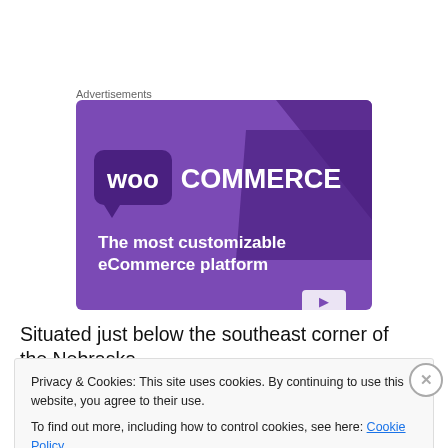Advertisements
[Figure (screenshot): WooCommerce advertisement banner with purple background showing 'WOO COMMERCE' logo and text 'The most customizable eCommerce platform']
Situated just below the southeast corner of the Nebraska
Privacy & Cookies: This site uses cookies. By continuing to use this website, you agree to their use.
To find out more, including how to control cookies, see here: Cookie Policy